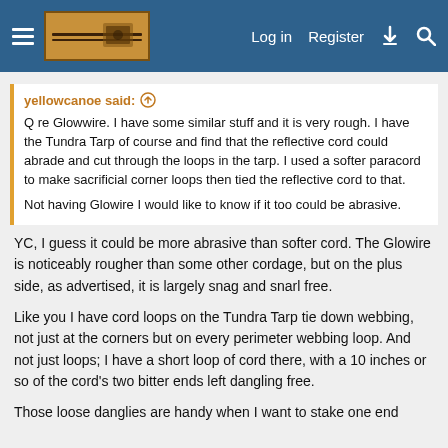Log in  Register
yellowcanoe said:
Q re Glowwire. I have some similar stuff and it is very rough. I have the Tundra Tarp of course and find that the reflective cord could abrade and cut through the loops in the tarp. I used a softer paracord to make sacrificial corner loops then tied the reflective cord to that.

Not having Glowire I would like to know if it too could be abrasive.
YC, I guess it could be more abrasive than softer cord. The Glowire is noticeably rougher than some other cordage, but on the plus side, as advertised, it is largely snag and snarl free.
Like you I have cord loops on the Tundra Tarp tie down webbing, not just at the corners but on every perimeter webbing loop. And not just loops; I have a short loop of cord there, with a 10 inches or so of the cord's two bitter ends left dangling free.
Those loose danglies are handy when I want to stake one end